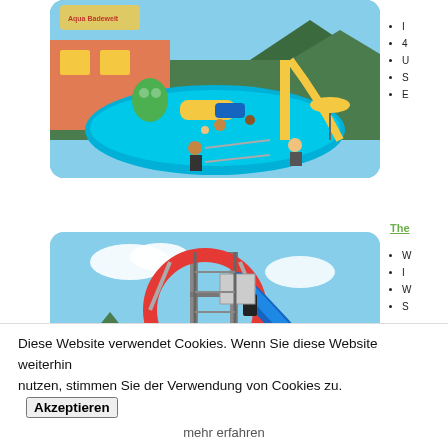[Figure (photo): Water park outdoor pool with slides, colorful inflatables, and people swimming on a sunny day. Yellow and green inflatable structures visible. Mountain backdrop.]
I
4
U
S
E
[Figure (photo): Water park slide tower with a large red circular loop structure and a blue slide, photographed against a blue sky with clouds and mountain in background.]
The
W
I
W
S
Diese Website verwendet Cookies. Wenn Sie diese Website weiterhin nutzen, stimmen Sie der Verwendung von Cookies zu.
Akzeptieren
mehr erfahren